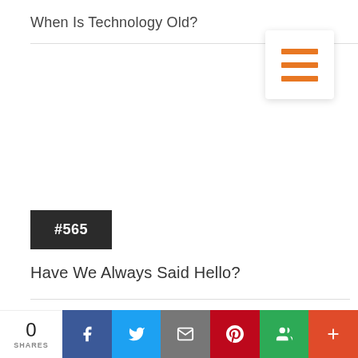When Is Technology Old?
[Figure (other): Hamburger menu icon with three orange horizontal bars on white card with shadow]
#565
Have We Always Said Hello?
[Figure (other): Red/orange horizontal banner with white horizontal line inside]
[Figure (logo): Microsoft Teams purple logo icon]
0 SHARES | Facebook | Twitter | Email | Pinterest | Groups | More